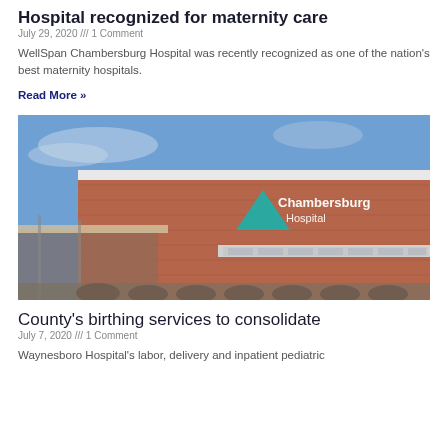Hospital recognized for maternity care
July 29, 2020 /// 1 Comment
WellSpan Chambersburg Hospital was recently recognized as one of the nation's best maternity hospitals.
Read More »
[Figure (photo): Exterior photo of Chambersburg Hospital building with brick facade, teal triangle logo, and hospital signage against a blue sky]
County's birthing services to consolidate
July 7, 2020 /// 1 Comment
Waynesboro Hospital's labor, delivery and inpatient pediatric